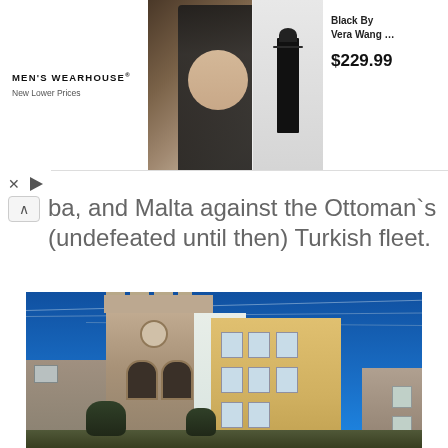[Figure (screenshot): Men's Wearhouse advertisement banner showing a couple in formal wear and a suit product thumbnail. Text reads: MEN'S WEARHOUSE® New Lower Prices. Black By Vera Wang ... $229.99]
ba, and Malta against the Ottoman`s (undefeated until then) Turkish fleet.
[Figure (photo): Photograph of a historic stone bell tower with battlements, arched openings, adjacent multi-story buildings with yellow/ochre facades, under a clear blue sky. Utility wires visible across the sky.]